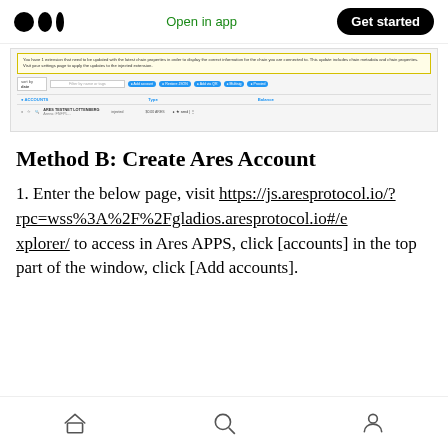Medium logo | Open in app | Get started
[Figure (screenshot): Screenshot of Ares Protocol web app showing accounts interface with warning banner, toolbar with filter options and Add account/Remove JSON/Add via QR/Multisig/Proceed buttons, and ACCOUNTS table with ARES TESTNET LOTTENBERG entry]
Method B: Create Ares Account
1. Enter the below page, visit https://js.aresprotocol.io/?rpc=wss%3A%2F%2Fgladios.aresprotocol.io#/explorer/ to access in Ares APPS, click [accounts] in the top part of the window, click [Add accounts].
Home | Search | Profile